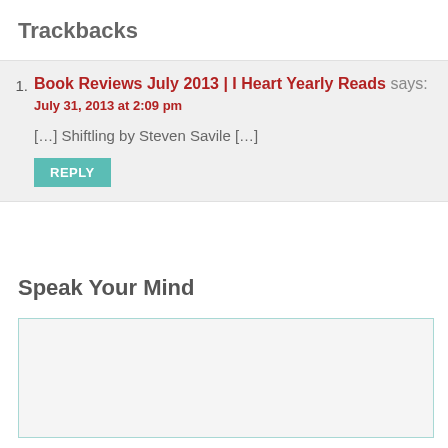Trackbacks
Book Reviews July 2013 | I Heart Yearly Reads says:
July 31, 2013 at 2:09 pm
[…] Shiftling by Steven Savile […]
REPLY
Speak Your Mind